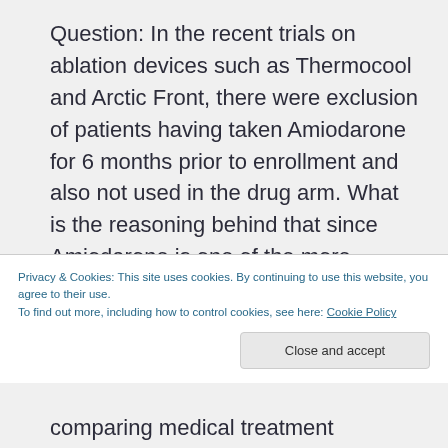Question: In the recent trials on ablation devices such as Thermocool and Arctic Front, there were exclusion of patients having taken Amiodarone for 6 months prior to enrollment and also not used in the drug arm. What is the reasoning behind that since Amiodarone is one of the more effective drugs?
Privacy & Cookies: This site uses cookies. By continuing to use this website, you agree to their use.
To find out more, including how to control cookies, see here: Cookie Policy
comparing medical treatment